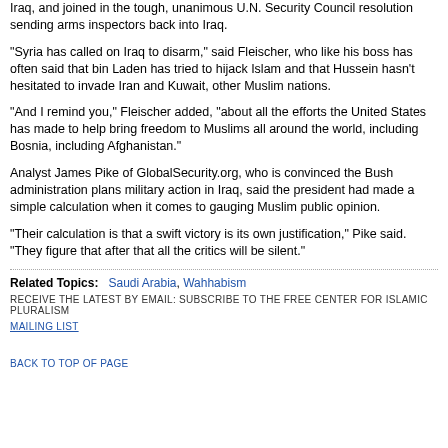Iraq, and joined in the tough, unanimous U.N. Security Council resolution sending arms inspectors back into Iraq.
"Syria has called on Iraq to disarm," said Fleischer, who like his boss has often said that bin Laden has tried to hijack Islam and that Hussein hasn't hesitated to invade Iran and Kuwait, other Muslim nations.
"And I remind you," Fleischer added, "about all the efforts the United States has made to help bring freedom to Muslims all around the world, including Bosnia, including Afghanistan."
Analyst James Pike of GlobalSecurity.org, who is convinced the Bush administration plans military action in Iraq, said the president had made a simple calculation when it comes to gauging Muslim public opinion.
"Their calculation is that a swift victory is its own justification," Pike said. "They figure that after that all the critics will be silent."
Related Topics:   Saudi Arabia,  Wahhabism
RECEIVE THE LATEST BY EMAIL: SUBSCRIBE TO THE FREE CENTER FOR ISLAMIC PLURALISM MAILING LIST
BACK TO TOP OF PAGE